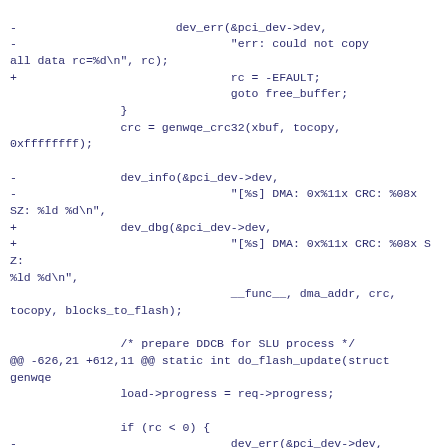-                       dev_err(&pci_dev->dev,
-                               "err: could not copy all data rc=%d\n", rc);
+                               rc = -EFAULT;
                                goto free_buffer;
                }
                crc = genwqe_crc32(xbuf, tocopy, 0xffffffff);

-               dev_info(&pci_dev->dev,
-                               "[%s] DMA: 0x%11x CRC: %08x SZ: %ld %d\n",
+               dev_dbg(&pci_dev->dev,
+                               "[%s] DMA: 0x%11x CRC: %08x SZ: %ld %d\n",
                                __func__, dma_addr, crc, tocopy, blocks_to_flash);

                /* prepare DDCB for SLU process */
@@ -626,21 +612,11 @@ static int do_flash_update(struct genwqe
                load->progress = req->progress;

                if (rc < 0) {
-                               dev_err(&pci_dev->dev,
-                                       "  [%s] DDCB returned (RETC=%x ATTN=%x "
-                                       "PROG=%x rc=%d)\n",
__func__, req->retc,
-                                       req->attn, req-